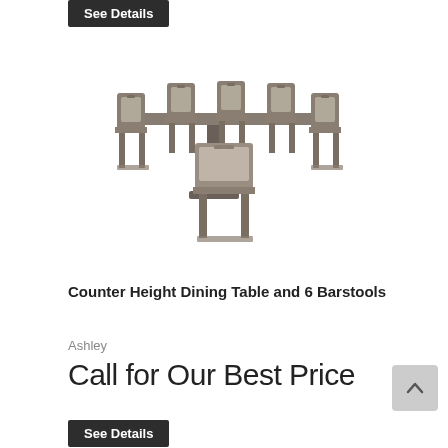[Figure (photo): Counter height dining table set with 6 upholstered barstools in dark grey/brown finish, viewed from a slight angle]
Counter Height Dining Table and 6 Barstools
Ashley
Call for Our Best Price